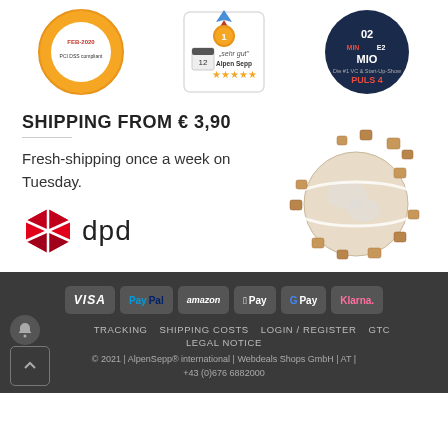[Figure (illustration): Three badge/award images: PCI DSS compliant FEB-2020 seal, 'sehr gut' Alpen Sepp rating badge with 5 stars, and 02 MIN E2 MIO PULS 4 startup show badge]
SHIPPING FROM € 3,90
Fresh-shipping once a week on Tuesday.
[Figure (logo): DPD logo with red cube icon and 'dpd' text]
[Figure (illustration): 3D globe with brown delivery packages orbiting around it]
[Figure (infographic): Payment method icons: VISA, PayPal, amazon, Apple Pay, G Pay, Klarna in dark rounded rectangles]
TRACKING   SHIPPING COSTS   LOGIN / REGISTER   GTC   LEGAL NOTICE
© 2021 | AlpenSepp® international | Webdeals Shops GmbH | AT | +43 (0)676 6882000